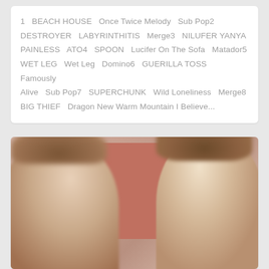1  BEACH HOUSE  Once Twice Melody  Sub Pop2  DESTROYER  LABYRINTHITIS  Merge3  NILUFER YANYA  PAINLESS  ATO4  SPOON  Lucifer On The Sofa  Matador5  WET LEG  Wet Leg  Domino6  GUERILLA TOSS  Famously Alive  Sub Pop7  SUPERCHUNK  Wild Loneliness  Merge8  BIG THIEF  Dragon New Warm Mountain I Believe...
[Figure (photo): Photo of two people (a woman on the left with wavy hair and a man on the right with longer hair, eyes closed) standing outdoors in front of a reddish-brick building with blurred/soft focus background.]